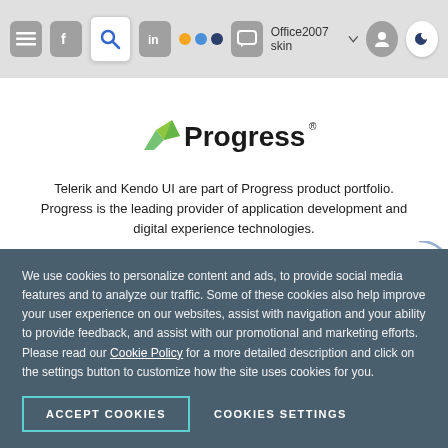[Figure (screenshot): Browser toolbar with navigation icons including hamburger menu, Facebook icon, search (active/highlighted), LinkedIn, dots, chat bubble, Office2007 skin label with dropdown, and dark mode moon button]
[Figure (logo): Progress company logo with green angular arrow icon and bold 'Progress' wordmark with registered trademark symbol]
Telerik and Kendo UI are part of Progress product portfolio. Progress is the leading provider of application development and digital experience technologies.
Company
We use cookies to personalize content and ads, to provide social media features and to analyze our traffic. Some of these cookies also help improve your user experience on our websites, assist with navigation and your ability to provide feedback, and assist with our promotional and marketing efforts. Please read our Cookie Policy for a more detailed description and click on the settings button to customize how the site uses cookies for you.
ACCEPT COOKIES
COOKIES SETTINGS